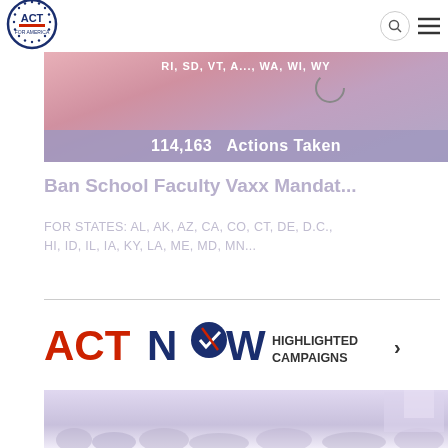[Figure (logo): ACT for America circular logo with stars border]
RI, SD, VT, A..., WA, WI, WY
114,163   Actions Taken
Ban School Faculty Vaxx Mandat...
FOR STATES: AL, AK, AZ, CA, CO, CT, DE, D.C., HI, ID, IL, IA, KY, LA, ME, MD, MN...
[Figure (logo): ACT NOW Highlighted Campaigns logo with checkmark and arrow]
[Figure (photo): Crowd photo at bottom of page]